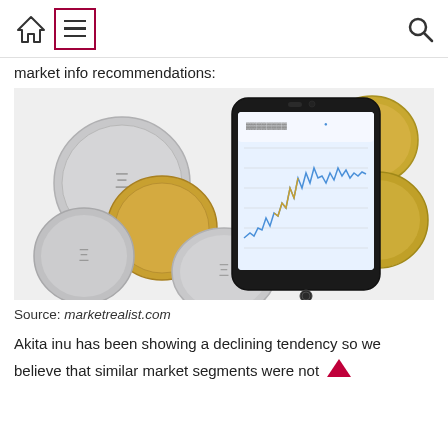[Navigation bar with home icon, menu icon, and search icon]
market info recommendations:
[Figure (photo): A smartphone showing a cryptocurrency price chart (line chart with volatile movement) surrounded by silver and gold cryptocurrency coins on a white surface.]
Source: marketrealist.com
Akita inu has been showing a declining tendency so we believe that similar market segments were not